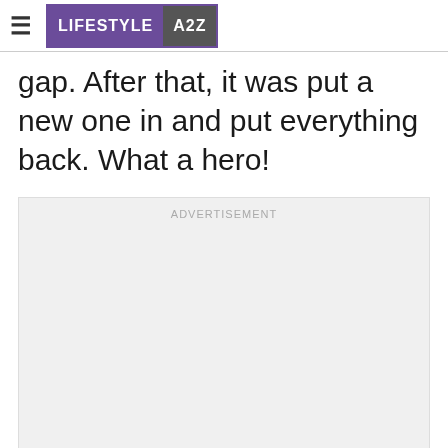≡ LIFESTYLE A2Z
gap. After that, it was put a new one in and put everything back. What a hero!
[Figure (other): Advertisement placeholder box with 'ADVERTISEMENT' label at the top, light gray background]